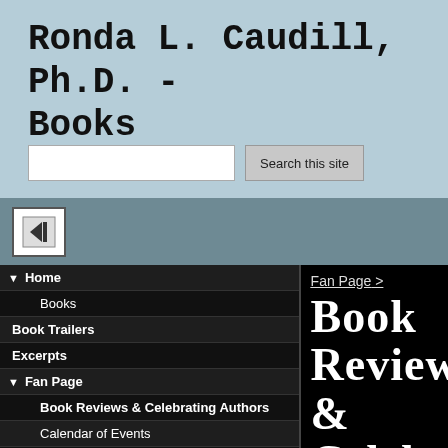Ronda L. Caudill, Ph.D. - Books
[Figure (screenshot): Search bar with text input field and 'Search this site' button]
[Figure (other): Expand/collapse icon button showing a box with left-pointing triangle]
Home
Books
Book Trailers
Excerpts
Fan Page
Book Reviews & Celebrating Authors
Calendar of Events
Contacts
Contests
Merchandise
Special Recognition
Independent Film Makers
Sitemap
Fan Page >
Book Reviews & Celebri...